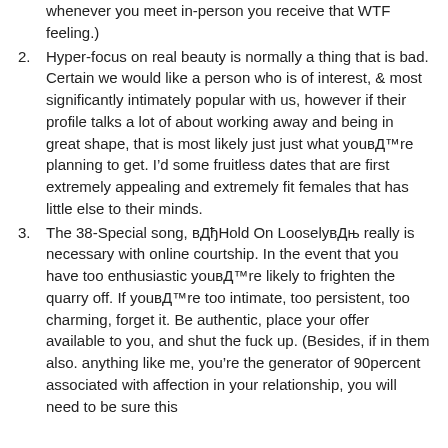(continuation) whenever you meet in-person you receive that WTF feeling.)
2. Hyper-focus on real beauty is normally a thing that is bad. Certain we would like a person who is of interest, & most significantly intimately popular with us, however if their profile talks a lot of about working away and being in great shape, that is most likely just just what youвЂ™re planning to get. I’d some fruitless dates that are first extremely appealing and extremely fit females that has little else to their minds.
3. The 38-Special song, вЂњHold On LooselyvЂќ really is necessary with online courtship. In the event that you have too enthusiastic youвЂ™re likely to frighten the quarry off. If youвЂ™re too intimate, too persistent, too charming, forget it. Be authentic, place your offer available to you, and shut the fuck up. (Besides, if in them also. anything like me, you’re the generator of 90percent associated with affection in your relationship, you will need to be sure this